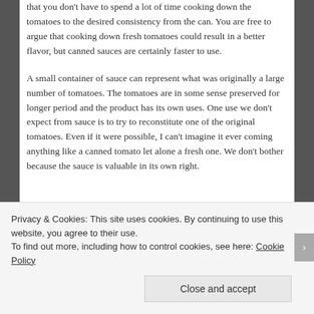that you don't have to spend a lot of time cooking down the tomatoes to the desired consistency from the can.  You are free to argue that cooking down fresh tomatoes could result in a better flavor, but canned sauces are certainly faster to use.

A small container of sauce can represent what was originally a large number of tomatoes.  The tomatoes are in some sense preserved for longer period and the product has its own uses.   One use we don't expect from sauce is to try to reconstitute one of the original tomatoes.    Even if it were possible, I can't imagine it ever coming anything like a canned tomato let alone a fresh one.  We don't bother because the sauce is valuable in its own right.
Privacy & Cookies: This site uses cookies. By continuing to use this website, you agree to their use.
To find out more, including how to control cookies, see here: Cookie Policy
Close and accept